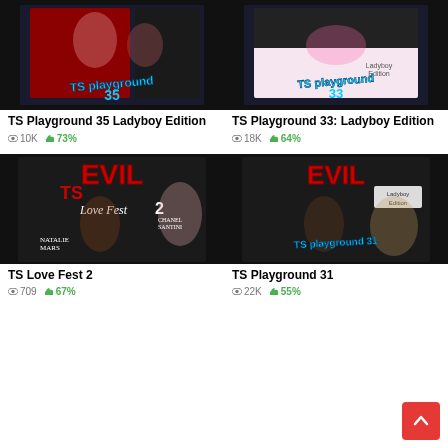[Figure (photo): DVD cover for TS Playground 35 Ladyboy Edition]
TS Playground 35 Ladyboy Edition
10K views · 73% likes
[Figure (photo): DVD cover for TS Playground 33: Ladyboy Edition]
TS Playground 33: Ladyboy Edition
18K views · 64% likes
[Figure (photo): DVD cover for TS Love Fest 2]
TS Love Fest 2
709 views · 67% likes
[Figure (photo): DVD cover for TS Playground 31]
TS Playground 31
22K views · 55% likes